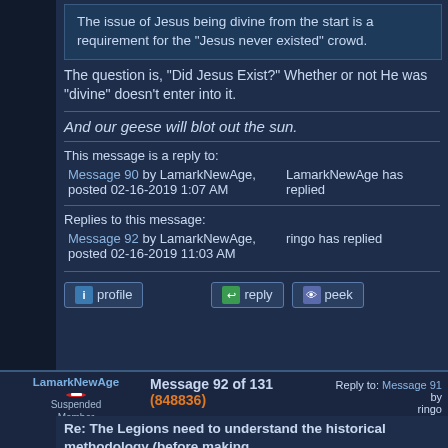The issue of Jesus being divine from the start is a requirement for the "Jesus never existed" crowd.
The question is, "Did Jesus Exist?" Whether or not He was "divine" doesn't enter into it.
And our geese will blot out the sun.
This message is a reply to:
Message 90 by LamarkNewAge, posted 02-16-2019 1:07 AM
LamarkNewAge has replied
Replies to this message:
Message 92 by LamarkNewAge, posted 02-16-2019 11:03 AM
ringo has replied
LamarkNewAge Message 92 of 131 (848836) 02-16-2019 11:03 AM Reply to: Message 91 by ringo 02-16-2019 10:50 AM
Suspended Member (Idle past 65 days)
Re: The Legions need to understand the historical methodology (before making